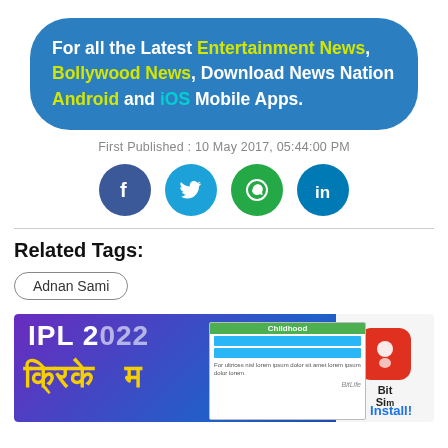For all the Latest Entertainment News, Bollywood News, Download News Nation Android and iOS Mobile Apps.
First Published : 10 May 2017, 05:44:00 PM
[Figure (other): Social media share icons: Facebook, Twitter, WhatsApp, LinkedIn]
Related Tags:
Adnan Sami
[Figure (other): Advertisement banner showing IPL 2022 cricket promotion in Hindi with BitLife app overlay ad]